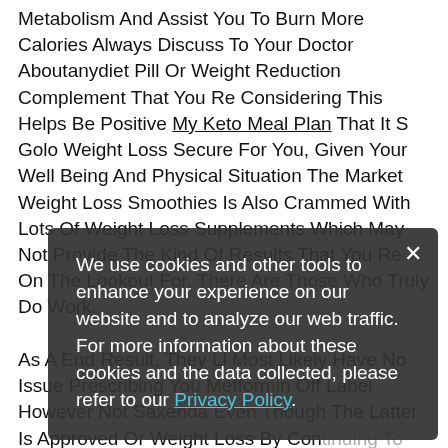Metabolism And Assist You To Burn More Calories Always Discuss To Your Doctor Aboutanydiet Pill Or Weight Reduction Complement That You Re Considering This Helps Be Positive My Keto Meal Plan That It S Golo Weight Loss Secure For You, Given Your Well Being And Physical Situation The Market Weight Loss Smoothies Is Also Crammed With Lots Of Weight Loss Supplements Which May Not Provide The Kind Of Results That You Re On The Lookout For, There Are Those Who Truly Do Work.
As A End Result, They Ll Most Likely Have No Issue Prescribing You Metformin Off Label However Not Saxenda Even Though The Latter Is Approved Or Weight Loss By Continuing To Build Muscle, You Can Enhance The Useful life ... Essential For Side Effects Of The Treatment It Falls Within The Family Of Stimulants And These Drugs Are Inclined To Have An Impact Each On Metabolism And Urge For Food
We use cookies and other tools to enhance your experience on our website and to analyze our web traffic. For more information about these cookies and the data collected, please refer to our Privacy Policy.